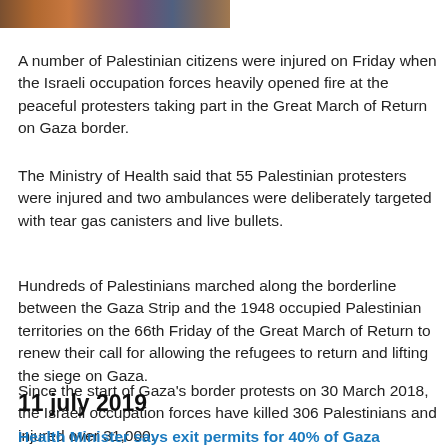[Figure (photo): Cropped photo strip showing a crowd of Palestinian protesters]
A number of Palestinian citizens were injured on Friday when the Israeli occupation forces heavily opened fire at the peaceful protesters taking part in the Great March of Return on Gaza border.
The Ministry of Health said that 55 Palestinian protesters were injured and two ambulances were deliberately targeted with tear gas canisters and live bullets.
Hundreds of Palestinians marched along the borderline between the Gaza Strip and the 1948 occupied Palestinian territories on the 66th Friday of the Great March of Return to renew their call for allowing the refugees to return and lifting the siege on Gaza.
Since the start of Gaza's border protests on 30 March 2018, the Israeli occupation forces have killed 306 Palestinians and injured over 31,000.
11 july 2019
Health Minister says exit permits for 40% of Gaza patients were rejected by Israel